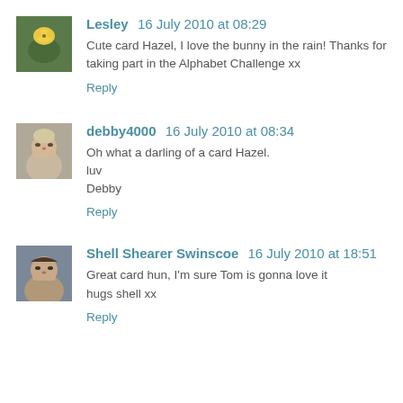Lesley 16 July 2010 at 08:29
Cute card Hazel, I love the bunny in the rain! Thanks for taking part in the Alphabet Challenge xx
Reply
debby4000 16 July 2010 at 08:34
Oh what a darling of a card Hazel.
luv
Debby
Reply
Shell Shearer Swinscoe 16 July 2010 at 18:51
Great card hun, I'm sure Tom is gonna love it
hugs shell xx
Reply